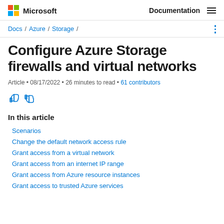Microsoft  Documentation
Docs / Azure / Storage /
Configure Azure Storage firewalls and virtual networks
Article • 08/17/2022 • 26 minutes to read • 61 contributors
In this article
Scenarios
Change the default network access rule
Grant access from a virtual network
Grant access from an internet IP range
Grant access from Azure resource instances
Grant access to trusted Azure services